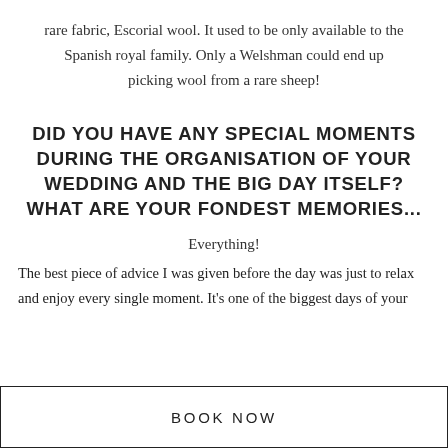rare fabric, Escorial wool. It used to be only available to the Spanish royal family. Only a Welshman could end up picking wool from a rare sheep!
DID YOU HAVE ANY SPECIAL MOMENTS DURING THE ORGANISATION OF YOUR WEDDING AND THE BIG DAY ITSELF? WHAT ARE YOUR FONDEST MEMORIES...
Everything!
The best piece of advice I was given before the day was just to relax and enjoy every single moment. It's one of the biggest days of your
BOOK NOW